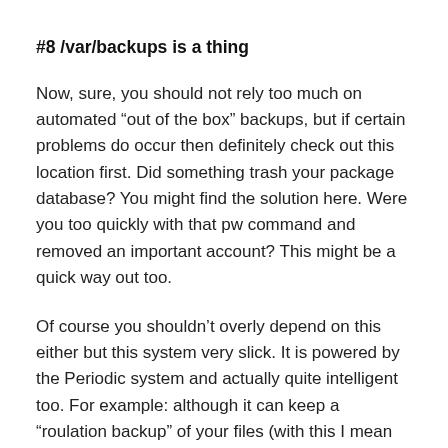#8 /var/backups is a thing
Now, sure, you should not rely too much on automated “out of the box” backups, but if certain problems do occur then definitely check out this location first. Did something trash your package database? You might find the solution here. Were you too quickly with that pw command and removed an important account? This might be a quick way out too.
Of course you shouldn’t overly depend on this either but this system very slick. It is powered by the Periodic system and actually quite intelligent too. For example: although it can keep a “roulation backup” of your files (with this I mean that it keeps several retention copies) it won’t if there is no need. For example: /var/backups/aliases.bak dates from October last year on my system. And there’s also an aliases.bak2 dating from July last year. Guess what? Last time I applied changes to the /etc/aliases file were...